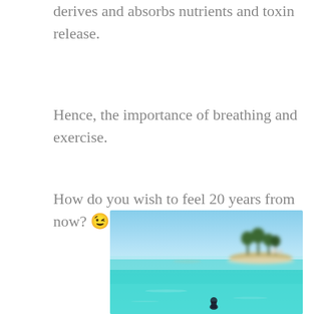derives and absorbs nutrients and toxin release.
Hence, the importance of breathing and exercise.
How do you wish to feel 20 years from now? 😉
[Figure (photo): A tropical beach scene with turquoise water, a distant island with palm trees, and a small figure in the foreground. Bright blue sky in the background.]